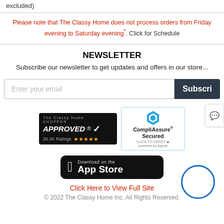excluded)
Please note that The Classy Home does not process orders from Friday evening to Saturday evening*. Click for Schedule
NEWSLETTER
Subscribe our newsletter to get updates and offers in our store...
[Figure (screenshot): Email subscription input box with placeholder text 'Enter your email' and a dark Subscribe button]
[Figure (logo): ShopperApproved badge with 20.2K Ratings and 5 stars, and CompliAssure Secured badge]
[Figure (logo): Download on the App Store button]
Click Here to View Full Site
© 2022 The Classy Home Inc. All Rights Reserved.